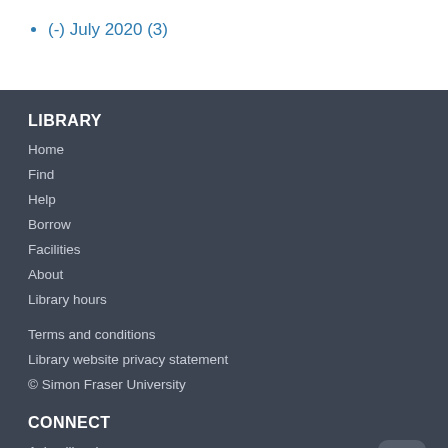(-) July 2020 (3)
LIBRARY
Home
Find
Help
Borrow
Facilities
About
Library hours
Terms and conditions
Library website privacy statement
© Simon Fraser University
CONNECT
Ask a librarian
Feedback